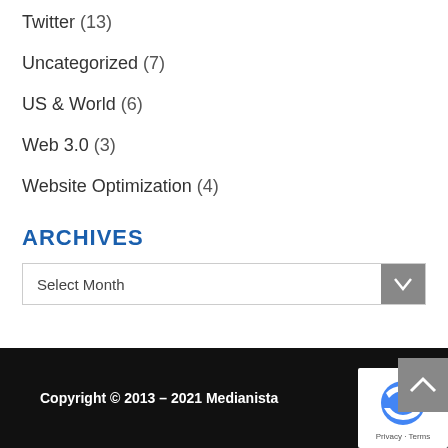Twitter (13)
Uncategorized (7)
US & World (6)
Web 3.0 (3)
Website Optimization (4)
ARCHIVES
Select Month
Copyright © 2013 – 2021 Medianista